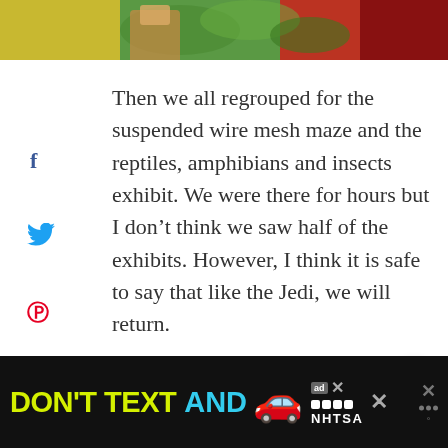[Figure (photo): Partial photo at top of page showing colorful foliage and a person, cropped to a horizontal strip]
Then we all regrouped for the suspended wire mesh maze and the reptiles, amphibians and insects exhibit. We were there for hours but I don't think we saw half of the exhibits. However, I think it is safe to say that like the Jedi, we will return.
[Figure (infographic): Social share sidebar with Facebook, Twitter, Pinterest, and Yummly icons, plus 0 SHARES count. Heart/like widget on right with count of 1 and share button.]
[Figure (infographic): Advertisement bar at bottom: 'DON'T TEXT AND' with car emoji, ad label, and NHTSA logo with close button]